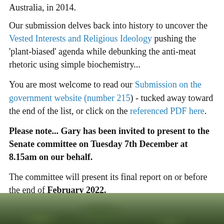Australia, in 2014.
Our submission delves back into history to uncover the Vested Interests and Religious Ideology pushing the 'plant-biased' agenda while debunking the anti-meat rhetoric using simple biochemistry...
You are most welcome to read our Submission on the government website (number 215) - tucked away toward the end of the list, or click on the referenced PDF here.
Please note... Gary has been invited to present to the Senate committee on Tuesday 7th December at 8.15am on our behalf.
The committee will present its final report on or before the end of February 2022.
[Figure (photo): Partial view of a photo showing green foliage/outdoor scene, cropped at bottom of page]